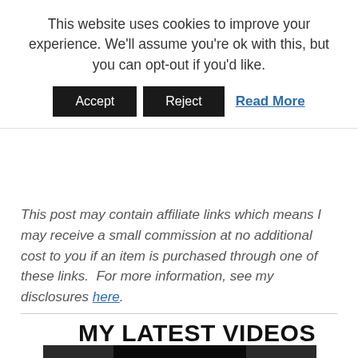This website uses cookies to improve your experience. We'll assume you're ok with this, but you can opt-out if you'd like.
Accept | Reject | Read More
This post may contain affiliate links which means I may receive a small commission at no additional cost to you if an item is purchased through one of these links.  For more information, see my disclosures here.
MY LATEST VIDEOS
[Figure (screenshot): Video player showing a play button icon over a dark background with message 'The video cannot be played in this']